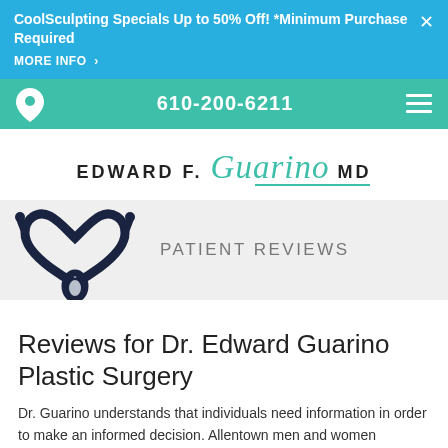CoolSculpting Specials Up to 50% Off! *Minimum Purchase Required
MORE INFO >
610-200-6211
[Figure (logo): Edward F. Guarino MD logo with script font for Guarino in teal/green]
[Figure (illustration): Stethoscope shaped into a heart with PATIENT REVIEWS text]
Reviews for Dr. Edward Guarino Plastic Surgery
Dr. Guarino understands that individuals need information in order to make an informed decision. Allentown men and women searching for the best plastic surgeon for their cosmetic